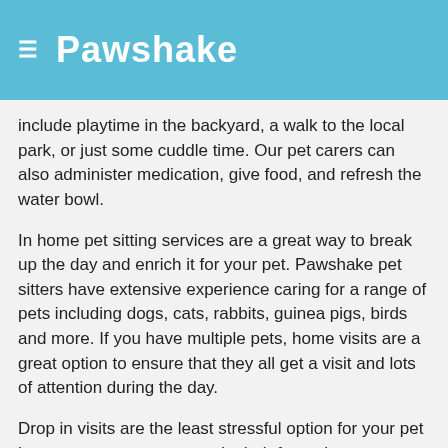≡  Pawshake
include playtime in the backyard, a walk to the local park, or just some cuddle time. Our pet carers can also administer medication, give food, and refresh the water bowl.
In home pet sitting services are a great way to break up the day and enrich it for your pet. Pawshake pet sitters have extensive experience caring for a range of pets including dogs, cats, rabbits, guinea pigs, birds and more. If you have multiple pets, home visits are a great option to ensure that they all get a visit and lots of attention during the day.
Drop in visits are the least stressful option for your pet because your pet can stay in their favourite environment – their own home in Differdange. Their surroundings will be familiar and our loving and passionate Pawshake sitter will spoil them each day. Our sitters will treat your home